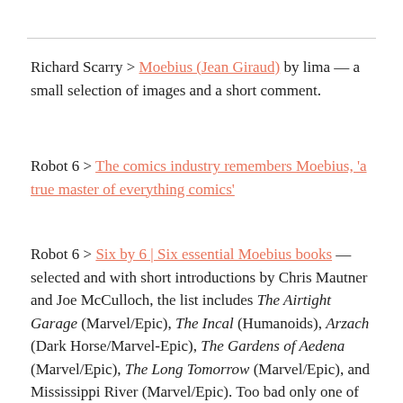Richard Scarry > Moebius (Jean Giraud) by lima — a small selection of images and a short comment.
Robot 6 > The comics industry remembers Moebius, 'a true master of everything comics'
Robot 6 > Six by 6 | Six essential Moebius books — selected and with short introductions by Chris Mautner and Joe McCulloch, the list includes The Airtight Garage (Marvel/Epic), The Incal (Humanoids), Arzach (Dark Horse/Marvel-Epic), The Gardens of Aedena (Marvel/Epic), The Long Tomorrow (Marvel/Epic), and Mississippi River (Marvel/Epic). Too bad only one of those books is still in print, but lucky me, I already own three of them; makes me wish I'd bought all of those Epic reprints when I had the chance. the end...